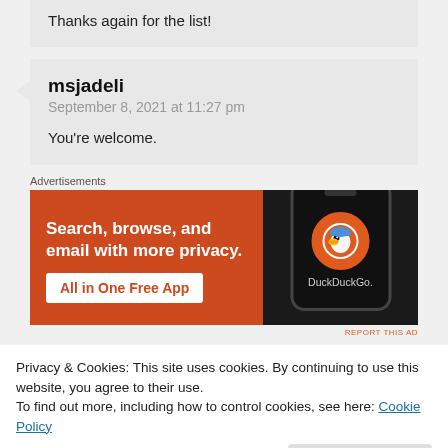Thanks again for the list!
msjadeli
September 8, 2021 at 11:27 pm
You're welcome.
Advertisements
[Figure (other): DuckDuckGo advertisement banner: orange background with text 'Search, browse, and email with more privacy. All in One Free App' and a phone showing the DuckDuckGo logo.]
REPORT THIS AD
Privacy & Cookies: This site uses cookies. By continuing to use this website, you agree to their use.
To find out more, including how to control cookies, see here: Cookie Policy
Close and accept
What a fabulous post, Hunt. Dividing the seasons for the in and...